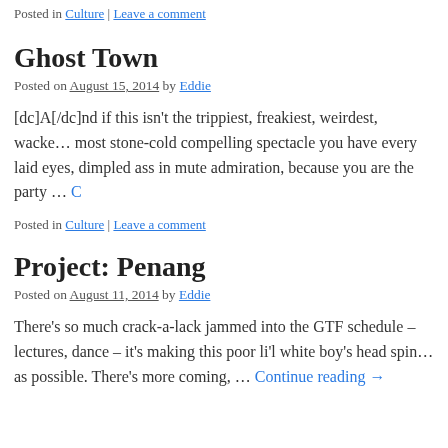Posted in Culture | Leave a comment
Ghost Town
Posted on August 15, 2014 by Eddie
[dc]A[/dc]nd if this isn't the trippiest, freakiest, weirdest, wacke… most stone-cold compelling spectacle you have every laid eyes, dimpled ass in mute admiration, because you are the party … Continue reading →
Posted in Culture | Leave a comment
Project: Penang
Posted on August 11, 2014 by Eddie
There's so much crack-a-lack jammed into the GTF schedule – lectures, dance – it's making this poor li'l white boy's head spin… as possible. There's more coming, … Continue reading →